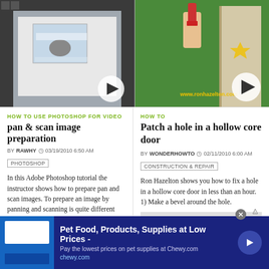[Figure (screenshot): Left video thumbnail showing Photoshop interface with a snowy image, with a circular play button overlay]
[Figure (screenshot): Right video thumbnail showing a green background with a hand holding a spray can near a door, with www.ronhazelton.com watermark and play button]
HOW TO USE PHOTOSHOP FOR VIDEO
pan & scan image preparation
BY RAWHY  03/19/2010 6:50 AM
PHOTOSHOP
In this Adobe Photoshop tutorial the instructor shows how to prepare pan and scan images. To prepare an image by panning and scanning is quite different than preparing an image normally for using in your video. These images should be extra sized as you would perform special effects on the image in your video. This is also called as "Ken Burns" effect. Now go to the file, new menu and select the video
HOW TO
Patch a hole in a hollow core door
BY WONDERHOWTO  02/11/2010 6:00 AM
CONSTRUCTION & REPAIR
Ron Hazelton shows you how to fix a hole in a hollow core door in less than an hour. 1) Make a bevel around the hole.
[Figure (screenshot): Gray placeholder block]
Pet Food, Products, Supplies at Low Prices - Pay the lowest prices on pet supplies at Chewy.com chewy.com